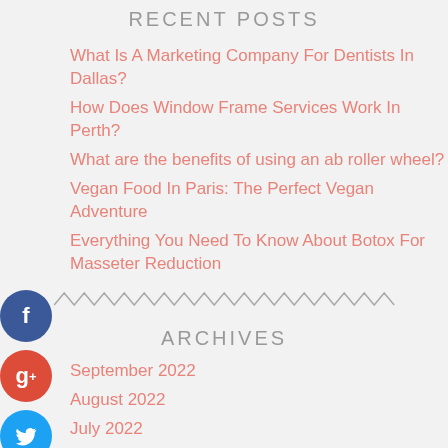RECENT POSTS
What Is A Marketing Company For Dentists In Dallas?
How Does Window Frame Services Work In Perth?
What are the benefits of using an ab roller wheel?
Vegan Food In Paris: The Perfect Vegan Adventure
Everything You Need To Know About Botox For Masseter Reduction
ARCHIVES
September 2022
August 2022
July 2022